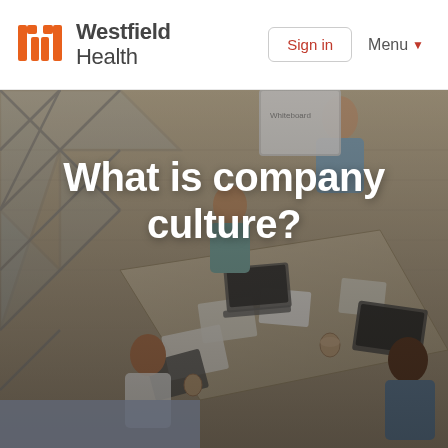Westfield Health — Sign in | Menu
[Figure (photo): Aerial view of people working at a large table with laptops, notebooks and phones in a modern office with wooden floors and glass diamond-patterned walls. The scene shows a team collaboration meeting.]
What is company culture?